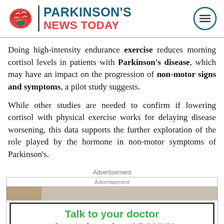PARKINSON'S NEWS TODAY
Doing high-intensity endurance exercise reduces morning cortisol levels in patients with Parkinson's disease, which may have an impact on the progression of non-motor signs and symptoms, a pilot study suggests.
While other studies are needed to confirm if lowering cortisol with physical exercise works for delaying disease worsening, this data supports the further exploration of the role played by the hormone in non-motor symptoms of Parkinson's.
Advertisement
[Figure (infographic): Advertisement for APOKYN medication with text 'Talk to your doctor about choosing APOKYN' in green bold font inside a bordered box, with partial photo of person visible.]